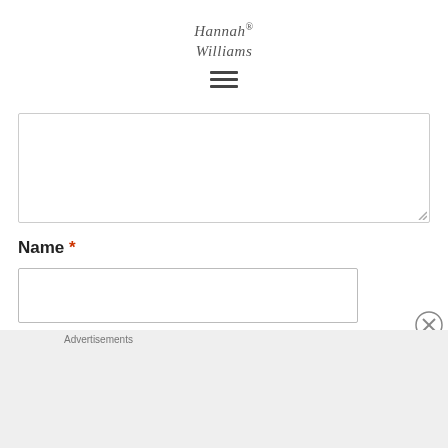Hannah Williams
[Figure (other): Hamburger menu icon with three horizontal lines]
[Figure (other): Text area input box (empty), with resize handle at bottom right]
Name *
[Figure (other): Name text input field (empty)]
[Figure (other): Close/dismiss button (X in circle) for advertisement overlay]
[Figure (other): DuckDuckGo advertisement banner: orange background, text 'Search, browse, and email with more privacy. All in One Free App', with DuckDuckGo logo and phone image on right]